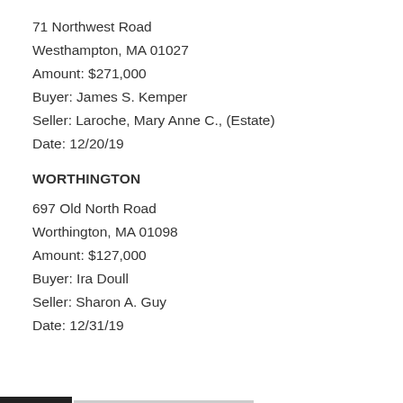71 Northwest Road
Westhampton, MA 01027
Amount: $271,000
Buyer: James S. Kemper
Seller: Laroche, Mary Anne C., (Estate)
Date: 12/20/19
WORTHINGTON
697 Old North Road
Worthington, MA 01098
Amount: $127,000
Buyer: Ira Doull
Seller: Sharon A. Guy
Date: 12/31/19